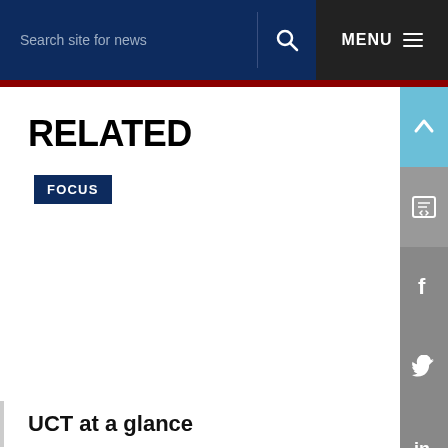Search site for news  MENU
RELATED
FOCUS
UCT at a glance